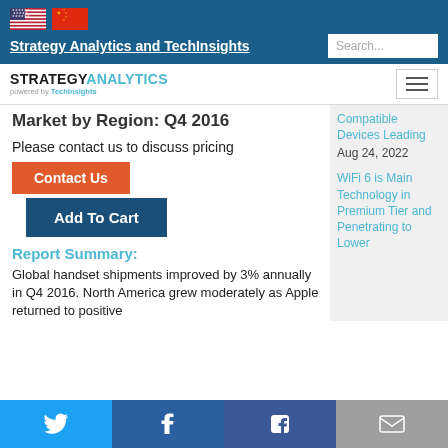Strategy Analytics and TechInsights
[Figure (logo): Strategy Analytics powered by TechInsights logo with hamburger menu]
Market by Region: Q4 2016
Please contact us to discuss pricing
Contact Us
Add To Cart
Report Summary:
Global handset shipments improved by 3% annually in Q4 2016. North America grew moderately as Apple returned to positive
Compatible Devices Leading
Aug 24, 2022
WiFi 6 is Main Technology in Premium Tier and Penetrating to Lower
Twitter LinkedIn Facebook Email